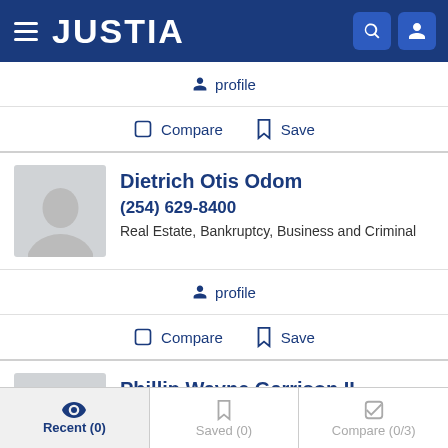JUSTIA
profile
Compare  Save
Dietrich Otis Odom
(254) 629-8400
Real Estate, Bankruptcy, Business and Criminal
profile
Compare  Save
Phillip Wayne Garrison II
Recent (0)   Saved (0)   Compare (0/3)